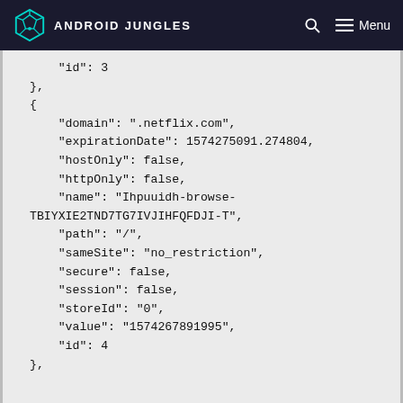ANDROID JUNGLES
"id": 3
},
{
    "domain": ".netflix.com",
    "expirationDate": 1574275091.274804,
    "hostOnly": false,
    "httpOnly": false,
    "name": "Ihpuuidh-browse-TBIYXIE2TND7TG7IVJIHFQFDJI-T",
    "path": "/",
    "sameSite": "no_restriction",
    "secure": false,
    "session": false,
    "storeId": "0",
    "value": "1574267891995",
    "id": 4
},